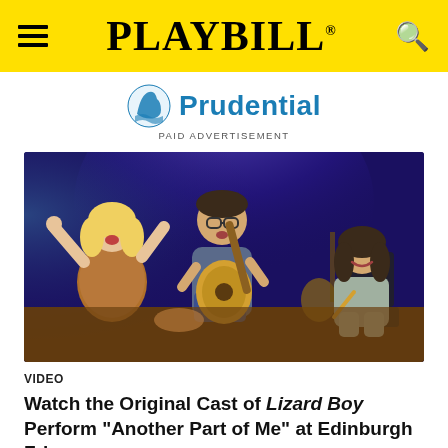PLAYBILL
[Figure (logo): Prudential logo with blue rock/wave icon and blue 'Prudential' text, with 'PAID ADVERTISEMENT' label below]
[Figure (photo): Stage performance photo showing three performers on a dark stage with purple/blue lighting. Center performer is a male playing acoustic guitar and singing. Left performer is a blonde female in a fur coat with arms raised singing. Right performer is a male seated casually. Guitars and musical equipment visible in background.]
VIDEO
Watch the Original Cast of Lizard Boy Perform "Another Part of Me" at Edinburgh Fringe